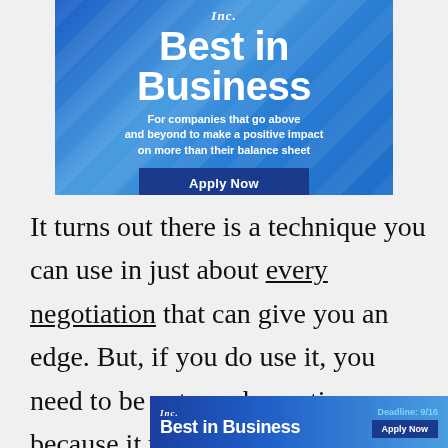[Figure (other): Inc. Best in Business advertisement banner. Blue gradient background with diagonal light rays. Text: 'Inc. Best in Business. For companies that go above and beyond to make a positive impact on more than their balance sheet'. Dark blue 'Apply Now' button. 'Deadline: September 16' in light blue text.]
It turns out there is a technique you can use in just about every negotiation that can give you an edge. But, if you do use it, you need to be extremely cautious because it walks a fine line between honest and dishonest dealing.
[Figure (other): Second smaller Inc. Best in Business banner ad at bottom. Blue gradient. Left side: 'Inc.' italic text above 'Best in Business' bold. Right side: 'Deadline: 9/16' and 'Apply Now' dark blue button.]